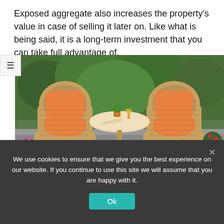Exposed aggregate also increases the property's value in case of selling it later on. Like what is being said, it is a long-term investment that you can take full advantage of.
[Figure (photo): Outdoor patio furniture: two wicker chairs with orange cushions around a round wicker table, surrounded by potted plants and flowers.]
We use cookies to ensure that we give you the best experience on our website. If you continue to use this site we will assume that you are happy with it.